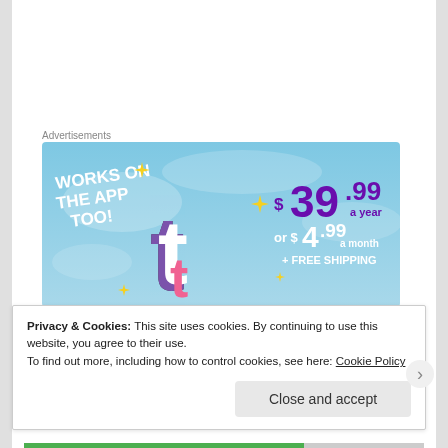Advertisements
[Figure (illustration): Tumblr ad banner with sky blue cloudy background. Left side shows white bold text 'WORKS ON THE APP TOO!' with yellow sparkle stars and the Tumblr 't' logo in purple, white, and pink. Right side shows purple text '$39.99 a year' and white text 'or $4.99 a month + FREE SHIPPING'.]
Some friends have shrugged and said, ‘This is the
Privacy & Cookies: This site uses cookies. By continuing to use this website, you agree to their use.
To find out more, including how to control cookies, see here: Cookie Policy
Close and accept